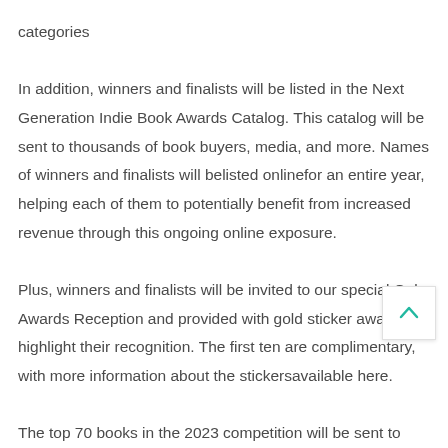categories

In addition, winners and finalists will be listed in the Next Generation Indie Book Awards Catalog. This catalog will be sent to thousands of book buyers, media, and more. Names of winners and finalists will belisted onlinefor an entire year, helping each of them to potentially benefit from increased revenue through this ongoing online exposure.

Plus, winners and finalists will be invited to our special Gala Awards Reception and provided with gold sticker awards highlight their recognition. The first ten are complimentary, with more information about the stickersavailable here.

The top 70 books in the 2023 competition will be sent to New